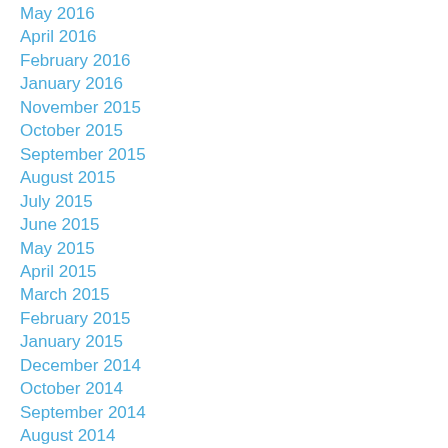May 2016
April 2016
February 2016
January 2016
November 2015
October 2015
September 2015
August 2015
July 2015
June 2015
May 2015
April 2015
March 2015
February 2015
January 2015
December 2014
October 2014
September 2014
August 2014
July 2014
June 2014